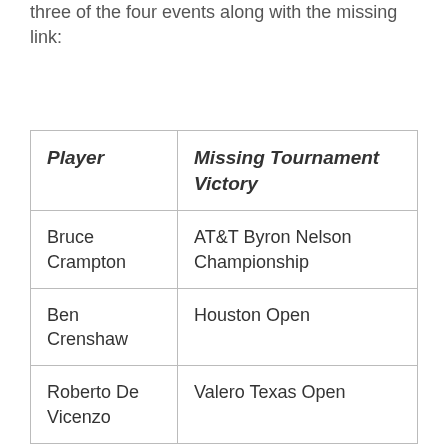three of the four events along with the missing link:
| Player | Missing Tournament Victory |
| --- | --- |
| Bruce Crampton | AT&T Byron Nelson Championship |
| Ben Crenshaw | Houston Open |
| Roberto De Vicenzo | Valero Texas Open |